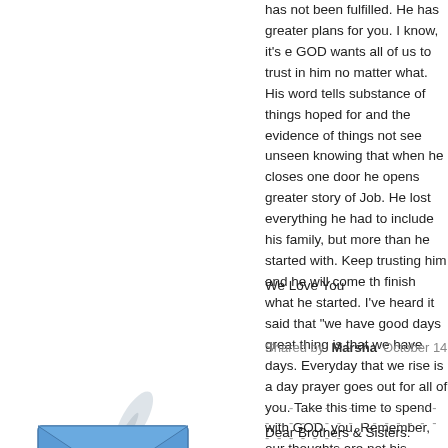has not been fulfilled. He has greater plans for you. I know, it's e GOD wants all of us to trust in him no matter what. His word tells substance of things hoped for and the evidence of things not see unseen knowing that when he closes one door he opens greater story of Job. He lost everything he had to include his family, but more than he started with. Keep trusting him and he will come th finish what he started. I've heard it said that "we have good days great thing is that we have days. Everyday that we rise is a day prayer goes out for all of you. Take this time to spend with GOD. you. Remember, our thoughts are not his thoughts and our plans loves you and will never leave you or forsake you, no matter wha
We Love You
Shared by Marsha  October 14, 2005 21:05:26
- - - - - - - - - - - - - - - - - - - - - - - - - - - - - - - - - - - - -
[Figure (illustration): Blue envelope with a quill pen icon, representing a letter/message]
Dear Brothers & Sisters:
I want you to know that you are loved and we pray for you. Just coverage has died down does not mean we have forgotten you. approximately one hundred survivors come to our convention ce